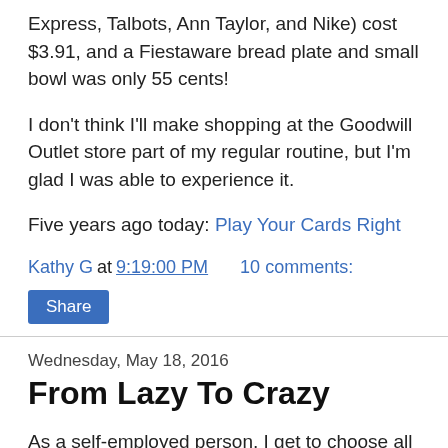Express, Talbots, Ann Taylor, and Nike) cost $3.91, and a Fiestaware bread plate and small bowl was only 55 cents!
I don't think I'll make shopping at the Goodwill Outlet store part of my regular routine, but I'm glad I was able to experience it.
Five years ago today: Play Your Cards Right
Kathy G at 9:19:00 PM    10 comments:
Share
Wednesday, May 18, 2016
From Lazy To Crazy
As a self-employed person, I get to choose all of my work commitments.  Most of the time I do it by going to a company's website and looking at the job board.  I also get emails telling me about opportunities.  This week I'm concentrating on doing projects around the house, but